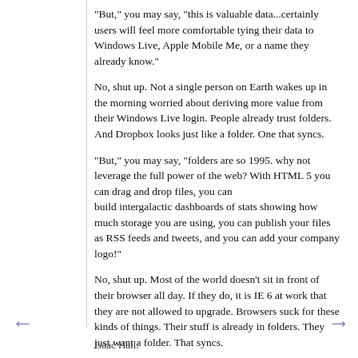"But," you may say, "this is valuable data...certainly users will feel more comfortable tying their data to Windows Live, Apple Mobile Me, or a name they already know."
No, shut up.  Not a single person on Earth wakes up in the morning worried about deriving more value from their Windows Live login.  People already trust folders.  And Dropbox looks just like a folder.  One that syncs.
"But," you may say, "folders are so 1995.  why not leverage the full power of the web?  With HTML 5 you can drag and drop files, you can build intergalactic dashboards of stats showing how much storage you are using, you can publish your files as RSS feeds and tweets, and you can add your company logo!"
No, shut up.  Most of the world doesn't sit in front of their browser all day.   If they do, it is IE 6 at work that they are not allowed to upgrade.  Browsers suck for these kinds of things.  Their stuff is already in folders.  They just want a folder.  That syncs.
That is what it does.
Isaac Hall: